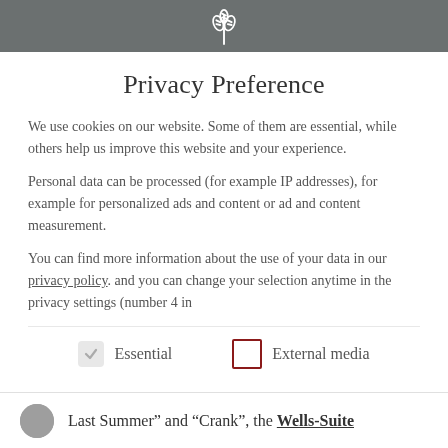[Figure (logo): Stylized wheat/grain icon in white on dark gray header bar]
Privacy Preference
We use cookies on our website. Some of them are essential, while others help us improve this website and your experience.
Personal data can be processed (for example IP addresses), for example for personalized ads and content or ad and content measurement.
You can find more information about the use of your data in our privacy policy. and you can change your selection anytime in the privacy settings (number 4 in
Essential
External media
Last Summer" and "Crank", the Wells-Suite